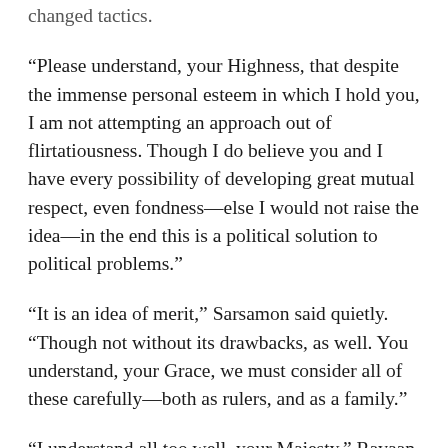changed tactics.
“Please understand, your Highness, that despite the immense personal esteem in which I hold you, I am not attempting an approach out of flirtatiousness. Though I do believe you and I have every possibility of developing great mutual respect, even fondness—else I would not raise the idea—in the end this is a political solution to political problems.”
“It is an idea of merit,” Sarsamon said quietly. “Though not without its drawbacks, as well. You understand, your Grace, we must consider all of these carefully—both as rulers, and as a family.”
“I understand all too well, your Majesty,” Ravaan agreed. “Such is the delicate balance required of those the gods have designated to rule.”
“It has often been said that governing is at once the…